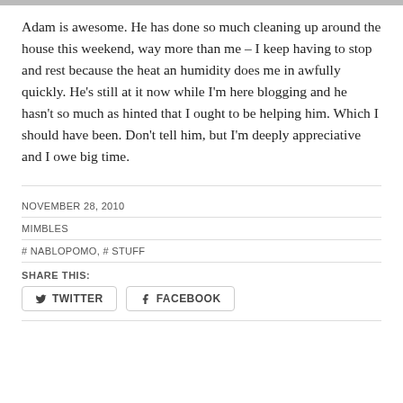[Figure (photo): Top image strip at the very top of the page]
Adam is awesome. He has done so much cleaning up around the house this weekend, way more than me – I keep having to stop and rest because the heat an humidity does me in awfully quickly. He's still at it now while I'm here blogging and he hasn't so much as hinted that I ought to be helping him. Which I should have been. Don't tell him, but I'm deeply appreciative and I owe big time.
NOVEMBER 28, 2010
MIMBLES
# NABLOPOMO, # STUFF
SHARE THIS:
TWITTER   FACEBOOK